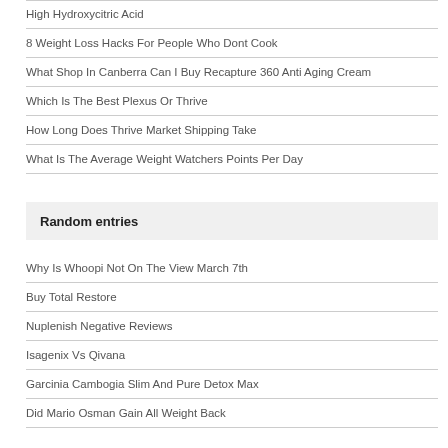High Hydroxycitric Acid
8 Weight Loss Hacks For People Who Dont Cook
What Shop In Canberra Can I Buy Recapture 360 Anti Aging Cream
Which Is The Best Plexus Or Thrive
How Long Does Thrive Market Shipping Take
What Is The Average Weight Watchers Points Per Day
Random entries
Why Is Whoopi Not On The View March 7th
Buy Total Restore
Nuplenish Negative Reviews
Isagenix Vs Qivana
Garcinia Cambogia Slim And Pure Detox Max
Did Mario Osman Gain All Weight Back